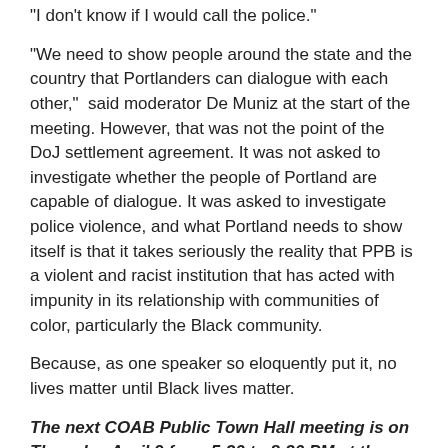“I don’t know if I would call the police.”
“We need to show people around the state and the country that Portlanders can dialogue with each other,”  said moderator De Muniz at the start of the meeting. However, that was not the point of the DoJ settlement agreement. It was not asked to investigate whether the people of Portland are capable of dialogue. It was asked to investigate police violence, and what Portland needs to show itself is that it takes seriously the reality that PPB is a violent and racist institution that has acted with impunity in its relationship with communities of color, particularly the Black community.
Because, as one speaker so eloquently put it, no lives matter until Black lives matter.
The next COAB Public Town Hall meeting is on Thursday April 9 from 5:30 to 8:30 PM at the Montavilla United Methodist Church located at 232 SE 80th Avenue.  Come make your voice heard.